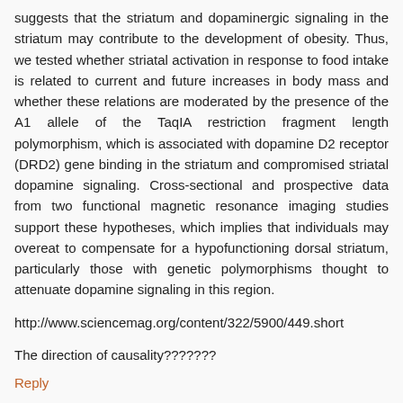suggests that the striatum and dopaminergic signaling in the striatum may contribute to the development of obesity. Thus, we tested whether striatal activation in response to food intake is related to current and future increases in body mass and whether these relations are moderated by the presence of the A1 allele of the TaqIA restriction fragment length polymorphism, which is associated with dopamine D2 receptor (DRD2) gene binding in the striatum and compromised striatal dopamine signaling. Cross-sectional and prospective data from two functional magnetic resonance imaging studies support these hypotheses, which implies that individuals may overeat to compensate for a hypofunctioning dorsal striatum, particularly those with genetic polymorphisms thought to attenuate dopamine signaling in this region.
http://www.sciencemag.org/content/322/5900/449.short
The direction of causality???????
Reply